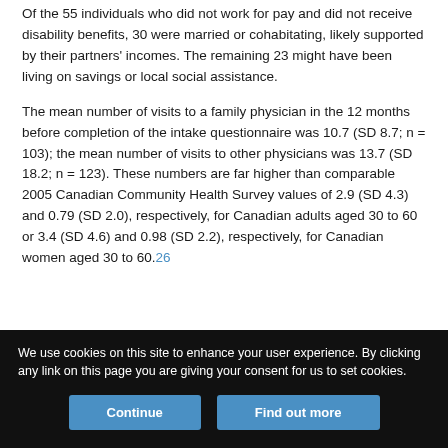Of the 55 individuals who did not work for pay and did not receive disability benefits, 30 were married or cohabitating, likely supported by their partners' incomes. The remaining 23 might have been living on savings or local social assistance.
The mean number of visits to a family physician in the 12 months before completion of the intake questionnaire was 10.7 (SD 8.7; n = 103); the mean number of visits to other physicians was 13.7 (SD 18.2; n = 123). These numbers are far higher than comparable 2005 Canadian Community Health Survey values of 2.9 (SD 4.3) and 0.79 (SD 2.0), respectively, for Canadian adults aged 30 to 60 or 3.4 (SD 4.6) and 0.98 (SD 2.2), respectively, for Canadian women aged 30 to 60.26
We use cookies on this site to enhance your user experience. By clicking any link on this page you are giving your consent for us to set cookies.